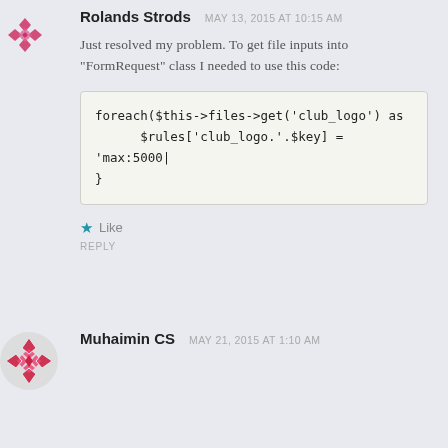[Figure (logo): Avatar icon with pink/magenta geometric diamond pattern on white circle background]
Rolands Strods  MAY 13, 2015 AT 10:15 AM
Just resolved my problem. To get file inputs into "FormRequest" class I needed to use this code:
★ Like
REPLY
[Figure (logo): Avatar icon with pink/crimson geometric diamond pattern on white circle background]
Muhaimin CS  MAY 21, 2015 AT 1:10 AM